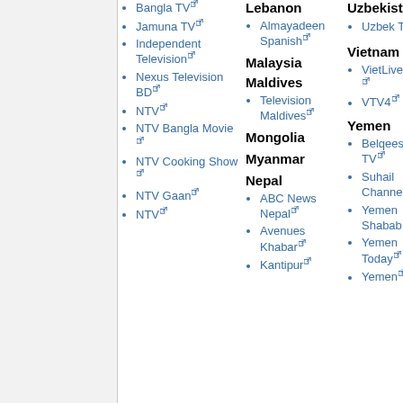Bangla TV
Jamuna TV
Independent Television
Nexus Television BD
NTV
NTV Bangla Movie
NTV Cooking Show
NTV Gaan
NTV Live
Lebanon
Almayadeen Spanish
Malaysia
Maldives
Television Maldives
Mongolia
Myanmar
Nepal
ABC News Nepal
Avenues Khabar
Kantipur
Uzbekistan
Uzbek TV
Vietnam
VietLive TV
VTV4
Yemen
Belqees TV
Suhail Channel
Yemen Shabab
Yemen Today
Yemen